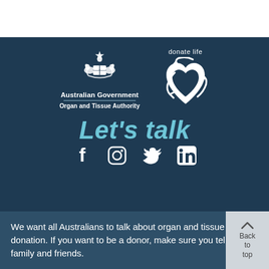[Figure (logo): Australian Government Organ and Tissue Authority crest logo with text]
[Figure (logo): Donate Life logo - white heart with recycling arrows and text 'donate life']
Let's talk
[Figure (infographic): Social media icons: Facebook, Instagram, Twitter, LinkedIn]
We want all Australians to talk about organ and tissue donation. If you want to be a donor, make sure you tell your family and friends.